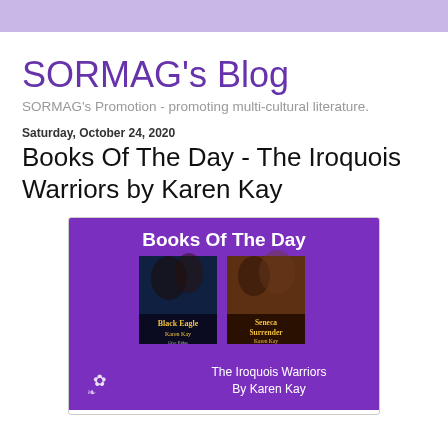SORMAG's Blog
SORMAG's Promotion - promoting multi-cultural literature.
Saturday, October 24, 2020
Books Of The Day - The Iroquois Warriors by Karen Kay
[Figure (illustration): Purple promotional banner reading 'Books Of The Day' with two romance novel covers: 'Black Eagle' by Karen Kay and 'Seneca Surrender' by Karen Kay, with text 'The Iroquois Warriors By Karen Kay' and a small flower illustration at bottom left.]